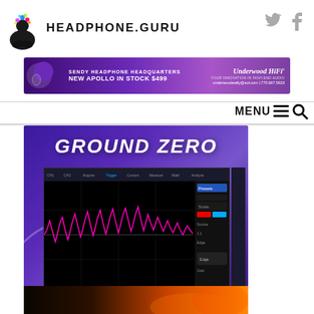[Figure (logo): Headphone.Guru website header with logo (meditating figure with colorful head explosion), site name HEADPHONE.GURU, and Twitter/Facebook social icons]
[Figure (photo): Banner advertisement: Sendy Headphone Headquarters - New Apollo In Stock $499 - Underwood HiFi - underwoodwally@aol.com | 770.667.5633, purple gradient background with headphone imagery]
MENU
[Figure (screenshot): Ground Zero article image: purple/blue gradient background with 'GROUND ZERO' italic title text and oscilloscope/measurement software screenshot showing pink waveform on black screen]
[Figure (photo): Partial dark image with orange/fire tones visible at bottom of page, appears to be start of another article image]